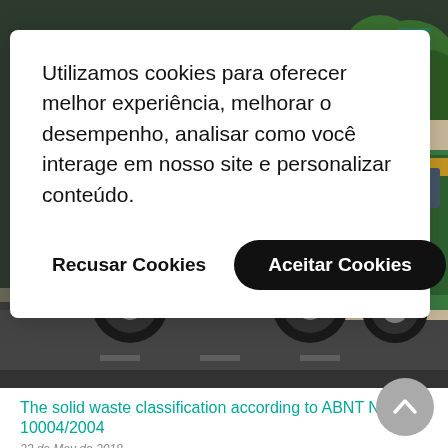[Figure (photo): A green garbage/waste collection truck photographed on a street, with trees visible in the background. The truck has white graphic markings on its side.]
Utilizamos cookies para oferecer melhor experiência, melhorar o desempenho, analisar como você interage em nosso site e personalizar conteúdo.
Recusar Cookies
Aceitar Cookies
The solid waste classification according to ABNT NBR 10004/2004
22 de May de 2018